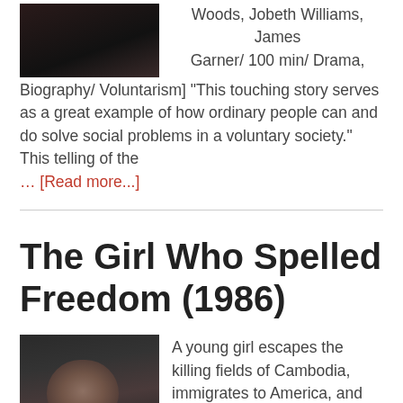[Figure (photo): Dark movie still image, top portion visible]
Woods, Jobeth Williams, James Garner/ 100 min/ Drama, Biography/ Voluntarism] "This touching story serves as a great example of how ordinary people can and do solve social problems in a voluntary society." This telling of the
… [Read more...]
The Girl Who Spelled Freedom (1986)
[Figure (photo): Dark movie still showing a young woman with short brown hair, looking downward]
A young girl escapes the killing fields of Cambodia, immigrates to America, and four years later becomes the U.S. national